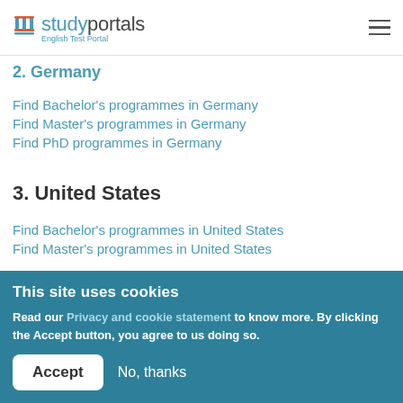studyportals English Test Portal
2. Germany
Find Bachelor's programmes in Germany
Find Master's programmes in Germany
Find PhD programmes in Germany
3. United States
Find Bachelor's programmes in United States
Find Master's programmes in United States
This site uses cookies
Read our Privacy and cookie statement to know more. By clicking the Accept button, you agree to us doing so.